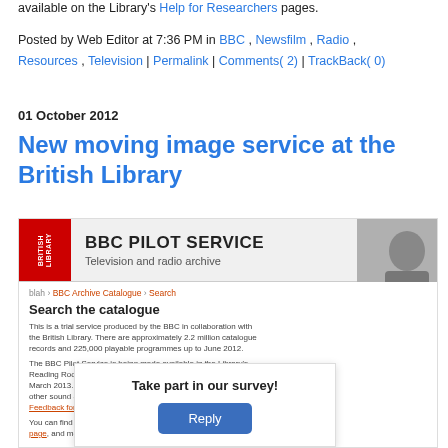available on the Library's Help for Researchers pages.
Posted by Web Editor at 7:36 PM in BBC , Newsfilm , Radio , Resources , Television | Permalink | Comments( 2) | TrackBack( 0)
01 October 2012
New moving image service at the British Library
[Figure (screenshot): Screenshot of BBC Pilot Service website showing 'Television and radio archive' catalogue search page with 'Take part in our survey!' overlay and Reply button. Right side shows thumbnail images of people and a dark room.]